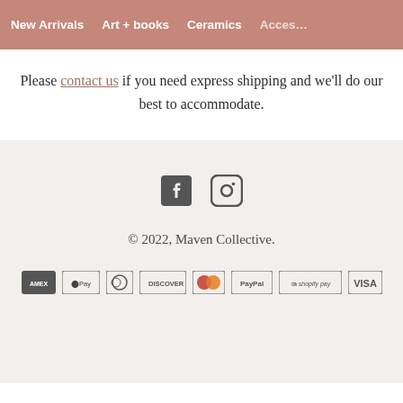New Arrivals   Art + books   Ceramics   Acces…
Please contact us if you need express shipping and we'll do our best to accommodate.
[Figure (other): Social media icons: Facebook and Instagram]
© 2022, Maven Collective.
[Figure (other): Payment method icons: American Express, Apple Pay, Diners Club, Discover, Mastercard, PayPal, Shopify Pay, VISA]